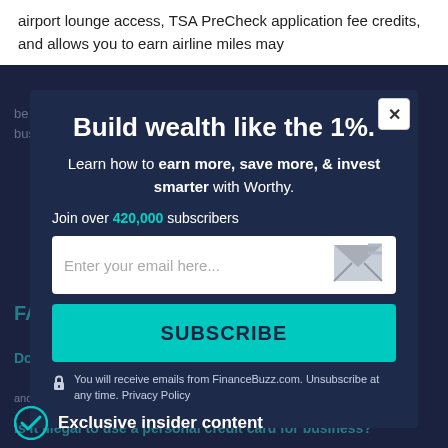airport lounge access, TSA PreCheck application fee credits, and allows you to earn airline miles may
be valuable. If you don't travel much for work then you might prefer business-related benefits such free...
Build wealth like the 1%.
Learn how to earn more, save more, & invest smarter with Worthy.
Join over 420,000 subscribers
Enter your email here...
SUBSCRIBE
You will receive emails from FinanceBuzz.com. Unsubscribe at any time. Privacy Policy
FAQs
Do business credit cards have higher limits?
and-limits than personal cards because the issuer
Is it illegal to use a personal credit card for business?
Exclusive insider content